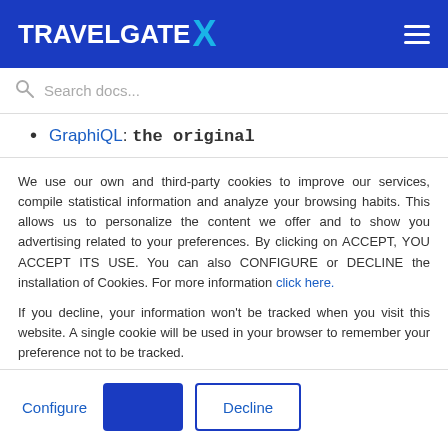TRAVELGATE X
GraphiQL: the original
We use our own and third-party cookies to improve our services, compile statistical information and analyze your browsing habits. This allows us to personalize the content we offer and to show you advertising related to your preferences. By clicking on ACCEPT, YOU ACCEPT ITS USE. You can also CONFIGURE or DECLINE the installation of Cookies. For more information click here.

If you decline, your information won't be tracked when you visit this website. A single cookie will be used in your browser to remember your preference not to be tracked.
Configure | [Accept button] | Decline